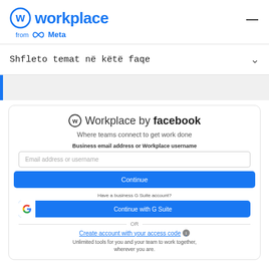[Figure (logo): Workplace from Meta logo with circular W icon in blue, text 'workplace' in blue bold, and 'from Meta' with Meta infinity symbol below]
Shfleto temat në këtë faqe
[Figure (screenshot): Login card for Workplace by Facebook showing email input, Continue button, G Suite login button, access code link, and tagline]
Workplace by facebook
Where teams connect to get work done
Business email address or Workplace username
Email address or username
Continue
Have a business G Suite account?
Continue with G Suite
OR
Create account with your access code
Unlimited tools for you and your team to work together, wherever you are.